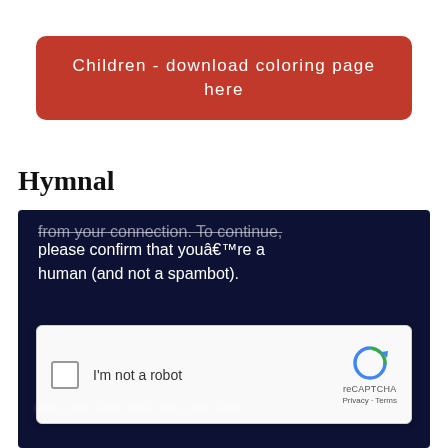Children - download coloring page here
Hymnal
[Figure (screenshot): A dark navy overlay showing a CAPTCHA verification screen. Text reads 'from your connection. To continue, please confirm that youâre a human (and not a spambot).' Below is a reCAPTCHA widget with a checkbox labeled 'I'm not a robot' and the reCAPTCHA logo with 'Privacy · Terms' text.]